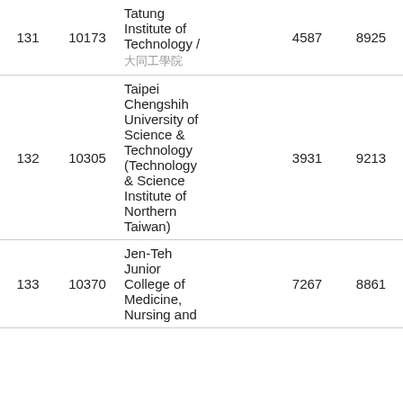| # | Code | Institution | Col4 | Col5 | Col6 | Col7 |
| --- | --- | --- | --- | --- | --- | --- |
| 131 | 10173 | Tatung Institute of Technology / 大同工學院 | 4587 | 8925 | 5821 | 6… |
| 132 | 10305 | Taipei Chengshih University of Science & Technology (Technology & Science Institute of Northern Taiwan) | 3931 | 9213 | 5821 | 6… |
| 133 | 10370 | Jen-Teh Junior College of Medicine, Nursing and… | 7267 | 8861 | 5821 | 6… |